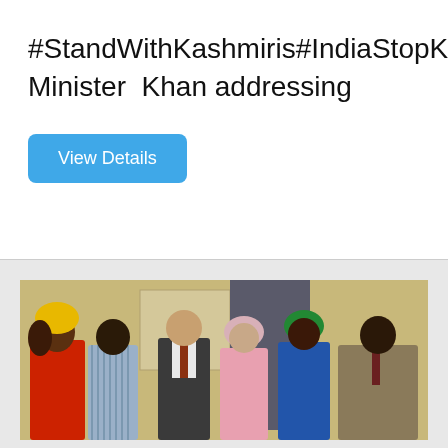#StandWithKashmiris#IndiaStopKillingInKashmir#FreeKashmirPrime Minister Khan addressing
[Figure (other): Button labeled 'View Details' with blue rounded rectangle background]
[Figure (photo): Group photo of five people standing together indoors against a light-colored wall. From left: a woman in red with yellow head covering, a man in a striped shirt, a man in a suit and tie, a woman in pink with a head covering and glasses, a woman in blue, and a man in a brown/grey blazer.]